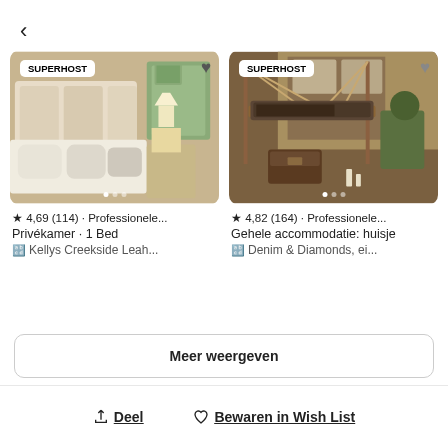[Figure (screenshot): Back navigation arrow (chevron left)]
[Figure (photo): Airbnb listing card left: bedroom with white bedding, wooden headboard, bedside lamp, SUPERHOST badge, heart icon, carousel dots]
★ 4,69 (114) · Professionele...
Privékamer · 1 Bed
🔤 Kellys Creekside Leah...
[Figure (photo): Airbnb listing card right: rustic hanging bed with wooden frame, plants, SUPERHOST badge, heart icon, carousel dots]
★ 4,82 (164) · Professionele...
Gehele accommodatie: huisje
🔤 Denim & Diamonds, ei...
Meer weergeven
Deel
Bewaren in Wish List